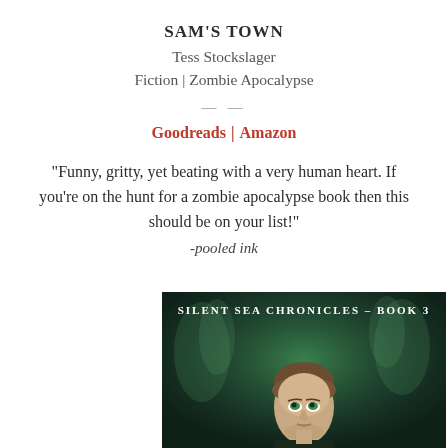SAM'S TOWN
Tess Stockslager
Fiction | Zombie Apocalypse
——
Goodreads | Amazon
“Funny, gritty, yet beating with a very human heart. If you’re on the hunt for a zombie apocalypse book then this should be on your list!”
-pooled ink
[Figure (illustration): Book cover for Silent Sea Chronicles - Book 3, showing a young woman with green-tinted eyes looking upward against a dark, smoky green background with ghostly figures.]